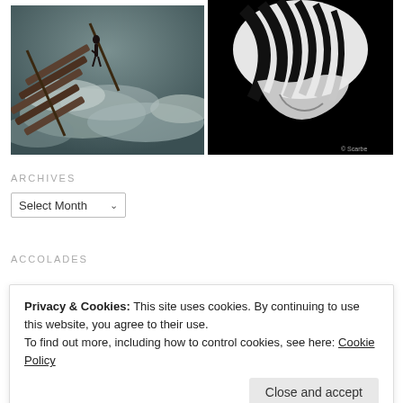[Figure (photo): Person standing on wooden stairs above clouds, fantasy surreal scene with teal-grey tones]
[Figure (photo): High contrast black and white abstract photo showing hands and palm leaf shadows]
ARCHIVES
Select Month
ACCOLADES
Privacy & Cookies: This site uses cookies. By continuing to use this website, you agree to their use.
To find out more, including how to control cookies, see here: Cookie Policy
Close and accept